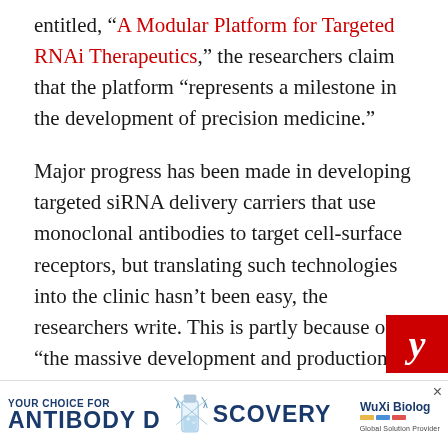entitled, "A Modular Platform for Targeted RNAi Therapeutics," the researchers claim that the platform "represents a milestone in the development of precision medicine."
Major progress has been made in developing targeted siRNA delivery carriers that use monoclonal antibodies to target cell-surface receptors, but translating such technologies into the clinic hasn't been easy, the researchers write. This is partly because of "the massive development and production requirements and the high batch-to-batch variability of current technologies, which rely on chemical conj...
[Figure (other): Red badge/watermark with italic letter y in white on red background, positioned at lower right]
[Figure (infographic): Advertisement banner: YOUR CHOICE FOR ANTIBODY DISCOVERY - WuXi Biologics, Global Solution Provider. Blue text on white background with vial illustration and molecular graphics.]